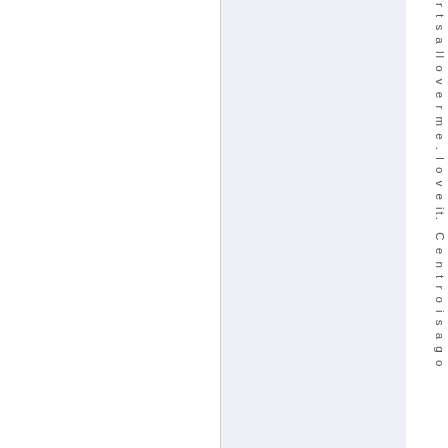r t s a ll o v e r m e . I l o v e it. Centrois ago